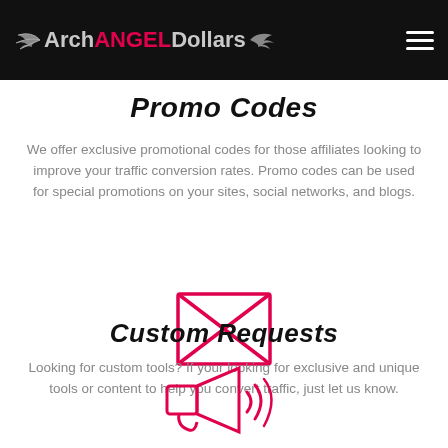ArchANGELDollars
Promo Codes
We offer exclusive promotional codes for those affiliates looking to improve your traffic conversion rates. Promo codes can be used for special promotions on your sites, social networks, and blogs.
[Figure (illustration): Pink/red envelope icon with an X cross across the front flap, outline style]
Custom Requests
Looking for custom tools? If your looking for exclusive and unique tools or content to help you convert traffic, just let us know.
[Figure (illustration): Pink/red megaphone/loudspeaker icon with sound waves, outline style, partially visible at bottom]